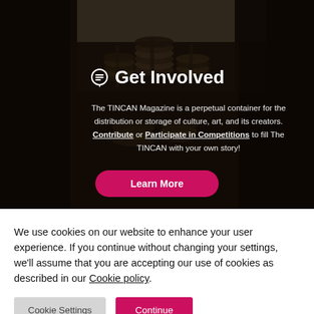[Figure (photo): Dark photograph of stacked film reels/spools on shelves in a storage room, used as background for a 'Get Involved' promotional section.]
💬 Get Involved
The TINCAN Magazine is a perpetual container for the distribution or storage of culture, art, and its creators. Contribute or Participate in Competitions to fill The TINCAN with your own story!
Learn More
We use cookies on our website to enhance your user experience. If you continue without changing your settings, we'll assume that you are accepting our use of cookies as described in our Cookie policy.
Cookie Settings   Continue